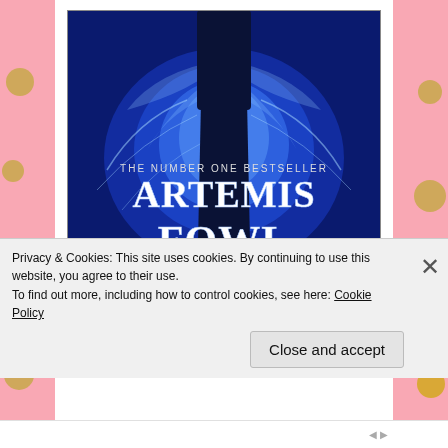[Figure (illustration): Book cover of 'Artemis Fowl' — dark blue background with a silhouette of a person standing, magical blue swirling energy effects, text 'THE NUMBER ONE BESTSELLER' and large title 'ARTEMIS FOWL' in white decorative lettering]
Can anyone direct me to some good books? Every
Privacy & Cookies: This site uses cookies. By continuing to use this website, you agree to their use.
To find out more, including how to control cookies, see here: Cookie Policy
Close and accept